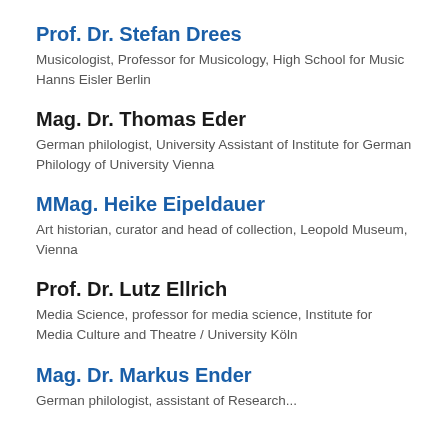Prof. Dr. Stefan Drees
Musicologist, Professor for Musicology, High School for Music Hanns Eisler Berlin
Mag. Dr. Thomas Eder
German philologist, University Assistant of Institute for German Philology of University Vienna
MMag. Heike Eipeldauer
Art historian, curator and head of collection, Leopold Museum, Vienna
Prof. Dr. Lutz Ellrich
Media Science, professor for media science, Institute for Media Culture and Theatre / University Köln
Mag. Dr. Markus Ender
German philologist, assistant of Research...